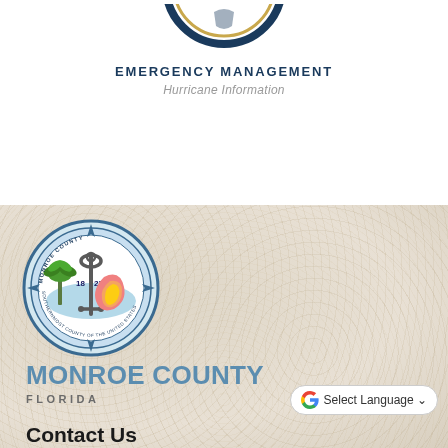[Figure (logo): Partial circular logo at top, dark navy blue arc/ring visible at top of page]
EMERGENCY MANAGEMENT
Hurricane Information
[Figure (logo): Monroe County Florida official seal: circular badge with anchor, palm tree, conch shell, dated 1823, surrounded by text 'MONROE COUNTY' and 'SOUTHERNMOST COUNTY OF THE UNITED STATES']
MONROE COUNTY
FLORIDA
Select Language
Contact Us